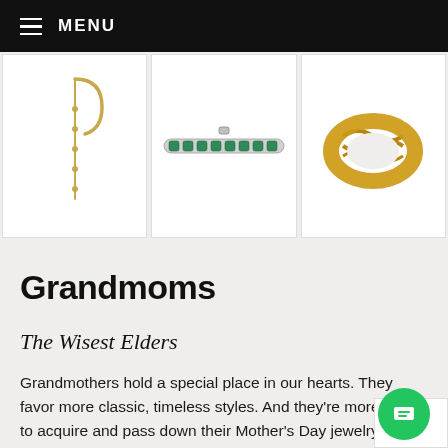MENU
[Figure (photo): Three jewelry product images in a horizontal grid: gold drop earring, emerald tennis bracelet, and braided gold ring]
Grandmoms
The Wisest Elders
Grandmothers hold a special place in our hearts. They favor more classic, timeless styles. And they're more likely to acquire and pass down their Mother's Day jewelry gifts as heirloom pieces.